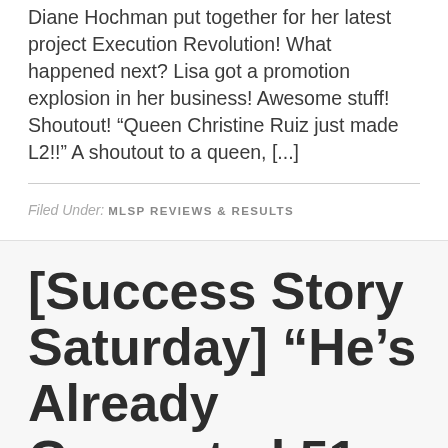Diane Hochman put together for her latest project Execution Revolution! What happened next? Lisa got a promotion explosion in her business! Awesome stuff! Shoutout! “Queen Christine Ruiz just made L2!!” A shoutout to a queen, [...]
Filed Under: MLSP REVIEWS & RESULTS
[Success Story Saturday] “He’s Already Generated 51